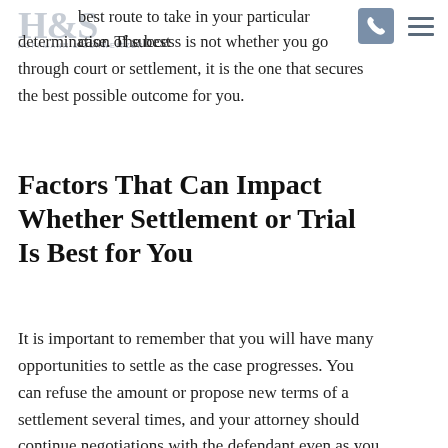H&S HOFFMANN & SCHWEITZER
best route to take in your particular case. The best determination of success is not whether you go through court or settlement, it is the one that secures the best possible outcome for you.
Factors That Can Impact Whether Settlement or Trial Is Best for You
It is important to remember that you will have many opportunities to settle as the case progresses. You can refuse the amount or propose new terms of a settlement several times, and your attorney should continue negotiations with the defendant even as you prepare for trial.